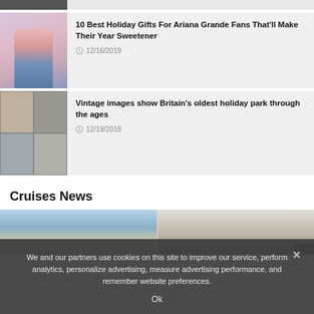[Figure (photo): Partial top image, cropped]
10 Best Holiday Gifts For Ariana Grande Fans That'll Make Their Year Sweetener — 12/16/2019
Vintage images show Britain's oldest holiday park through the ages — 12/19/2018
Cruises News
[Figure (photo): Two cruise-related images side by side, partially visible]
We and our partners use cookies on this site to improve our service, perform analytics, personalize advertising, measure advertising performance, and remember website preferences.
Ok